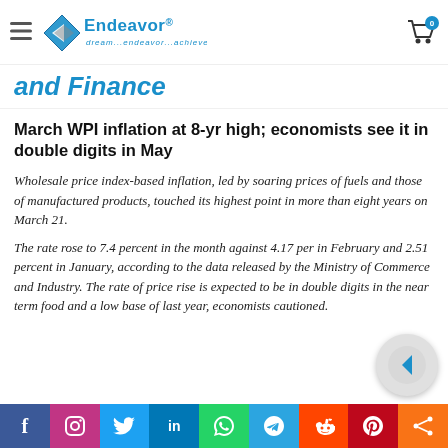Endeavor — dream...endeavor...achieve
and Finance
March WPI inflation at 8-yr high; economists see it in double digits in May
Wholesale price index-based inflation, led by soaring prices of fuels and those of manufactured products, touched its highest point in more than eight years on March 21.
The rate rose to 7.4 percent in the month against 4.17 per in February and 2.51 percent in January, according to the data released by the Ministry of Commerce and Industry. The rate of price rise is expected to be in double digits in the near term food and a low base of last year, economists cautioned.